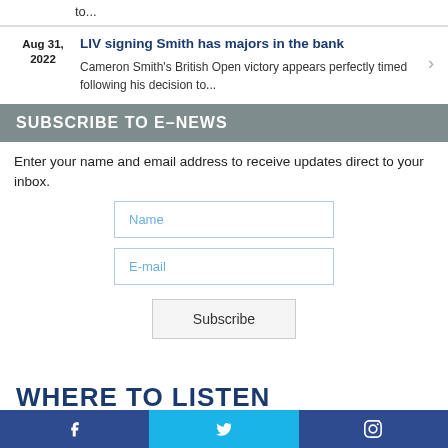to...
Aug 31, 2022
LIV signing Smith has majors in the bank
Cameron Smith's British Open victory appears perfectly timed following his decision to...
SUBSCRIBE TO E-NEWS
Enter your name and email address to receive updates direct to your inbox.
Name
E-mail
Subscribe
WHERE TO LISTEN
Facebook  Twitter  Instagram